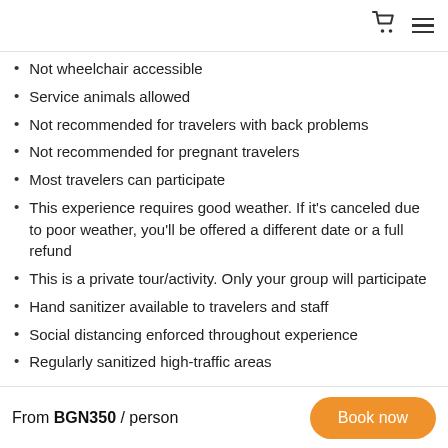[cart icon] [menu icon]
Not wheelchair accessible
Service animals allowed
Not recommended for travelers with back problems
Not recommended for pregnant travelers
Most travelers can participate
This experience requires good weather. If it's canceled due to poor weather, you'll be offered a different date or a full refund
This is a private tour/activity. Only your group will participate
Hand sanitizer available to travelers and staff
Social distancing enforced throughout experience
Regularly sanitized high-traffic areas
From BGN350 / person   Book now